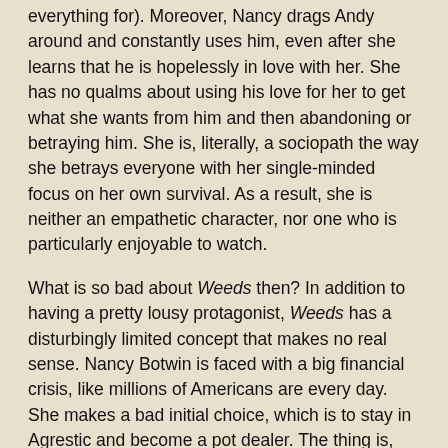everything for). Moreover, Nancy drags Andy around and constantly uses him, even after she learns that he is hopelessly in love with her. She has no qualms about using his love for her to get what she wants from him and then abandoning or betraying him. She is, literally, a sociopath the way she betrays everyone with her single-minded focus on her own survival. As a result, she is neither an empathetic character, nor one who is particularly enjoyable to watch.
What is so bad about Weeds then? In addition to having a pretty lousy protagonist, Weeds has a disturbingly limited concept that makes no real sense. Nancy Botwin is faced with a big financial crisis, like millions of Americans are every day. She makes a bad initial choice, which is to stay in Agrestic and become a pot dealer. The thing is, America is huge and there are plenty of places she could move (one garage sale would have given her more than enough money to move to a place with a lower cost-of-living) and get a job to make ends meet. So, the show starts off with a lousy decision . . .
. . . and then it just keeps making the same bad decision